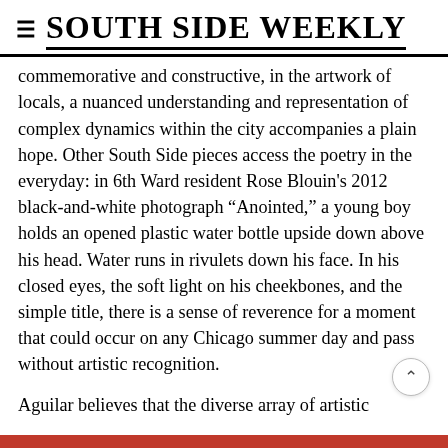SOUTH SIDE WEEKLY
commemorative and constructive, in the artwork of locals, a nuanced understanding and representation of complex dynamics within the city accompanies a plain hope. Other South Side pieces access the poetry in the everyday: in 6th Ward resident Rose Blouin's 2012 black-and-white photograph “Anointed,” a young boy holds an opened plastic water bottle upside down above his head. Water runs in rivulets down his face. In his closed eyes, the soft light on his cheekbones, and the simple title, there is a sense of reverence for a moment that could occur on any Chicago summer day and pass without artistic recognition.
Aguilar believes that the diverse array of artistic